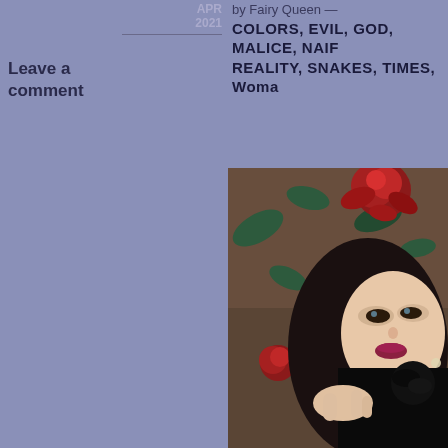2021
Leave a comment
by Fairy Queen — COLORS, EVIL, GOD, MALICE, NAIF, REALITY, SNAKES, TIMES, Woman
[Figure (photo): Woman lying on autumn leaves with red roses, wearing black dress, dramatic makeup]
Privacy & Cookies: This site uses cookies. By continuing to use this website, you agree to their use. To find out more, including how to control cookies, see here: Cookie Policy
Close and accept